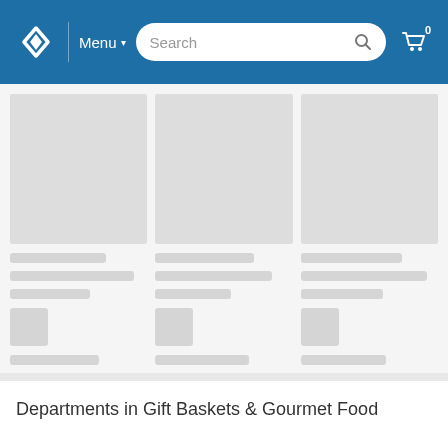Menu | Search | Cart 0
[Figure (screenshot): Loading skeleton placeholder grid with 3 columns, each showing a gray image placeholder, text line skeletons, a small box skeleton, and a bottom line skeleton]
Departments in Gift Baskets & Gourmet Food
Gift Baskets
Gift Towers